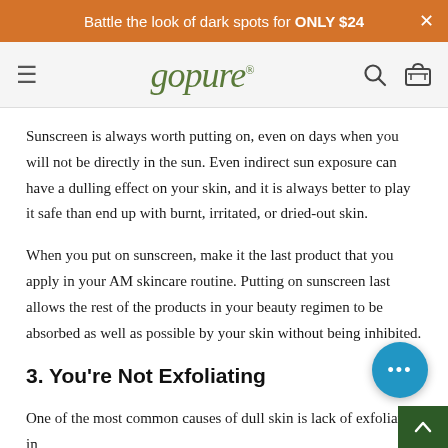Battle the look of dark spots for ONLY $24
[Figure (logo): goPure brand logo with hamburger menu, search icon, and cart icon navigation bar]
Sunscreen is always worth putting on, even on days when you will not be directly in the sun. Even indirect sun exposure can have a dulling effect on your skin, and it is always better to play it safe than end up with burnt, irritated, or dried-out skin.
When you put on sunscreen, make it the last product that you apply in your AM skincare routine. Putting on sunscreen last allows the rest of the products in your beauty regimen to be absorbed as well as possible by your skin without being inhibited.
3. You're Not Exfoliating
One of the most common causes of dull skin is lack of exfoliation in